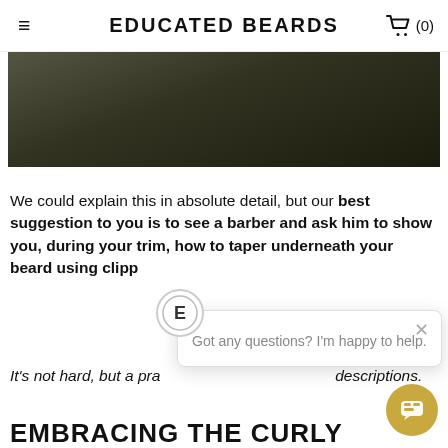Educated Beards
[Figure (photo): Partial view of a person with a beard wearing a dark jacket, dark background.]
We could explain this in absolute detail, but our best suggestion to you is to see a barber and ask him to show you, during your trim, how to taper underneath your beard using clipp
It's not hard, but a pra... descriptions.
EMBRACING THE CURLY